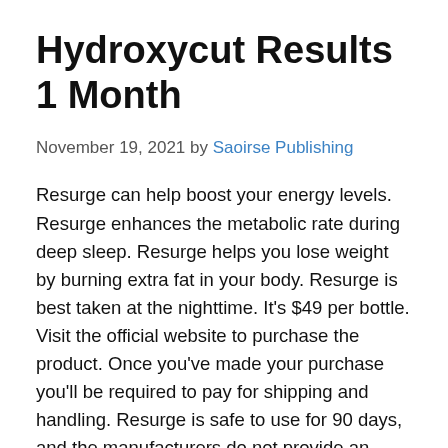Hydroxycut Results 1 Month
November 19, 2021 by Saoirse Publishing
Resurge can help boost your energy levels. Resurge enhances the metabolic rate during deep sleep. Resurge helps you lose weight by burning extra fat in your body. Resurge is best taken at the nighttime. It’s $49 per bottle. Visit the official website to purchase the product. Once you’ve made your purchase you’ll be required to pay for shipping and handling. Resurge is safe to use for 90 days, and the manufacturers do not provide an unconditional money-back